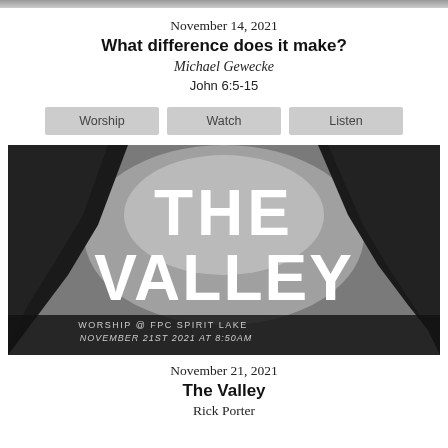[Figure (photo): Top edge of a photo strip, partially visible at top of page]
November 14, 2021
What difference does it make?
Michael Gewecke
John 6:5-15
[Figure (other): Three buttons: Worship, Watch, Listen]
[Figure (photo): Black and white photo of a misty valley between dark rocky cliffs, with large white text 'THE VALLEY' overlaid. Bottom text reads 'WORSHIP @ FPC SPIRIT LAKE' and 'NOVEMBER 21ST 2021 AT 8:50AM']
November 21, 2021
The Valley
Rick Porter